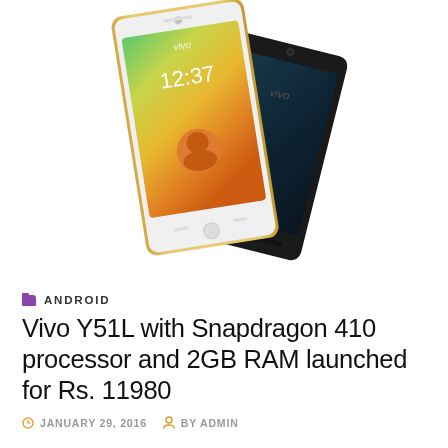[Figure (photo): Two Vivo Y51L smartphones displayed against white background — one white/gold tilted left showing colorful screen with gradient (green, yellow, orange), and one black tilted right showing dark screen. Both display the Vivo branding.]
ANDROID
Vivo Y51L with Snapdragon 410 processor and 2GB RAM launched for Rs. 11980
JANUARY 29, 2016   BY ADMIN